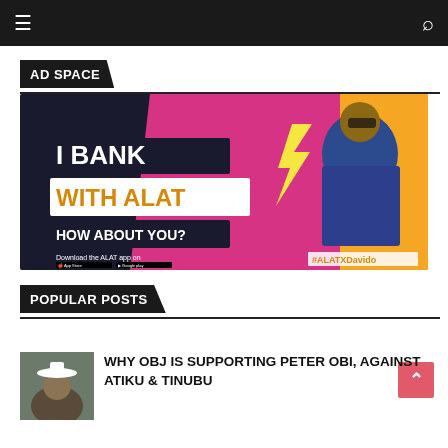≡  [Navigation bar]  🔍
AD SPACE
[Figure (illustration): ALAT Bank advertisement banner featuring a man in a blue pinstripe suit. Text reads: I BANK WITH ALAT, HOW ABOUT YOU? Download the ALAT app on App Store and Google Play. #ALATXDavido]
POPULAR POSTS
[Figure (photo): Thumbnail photo of a man wearing a white hat]
WHY OBJ IS SUPPORTING PETER OBI, AGAINST ATIKU & TINUBU